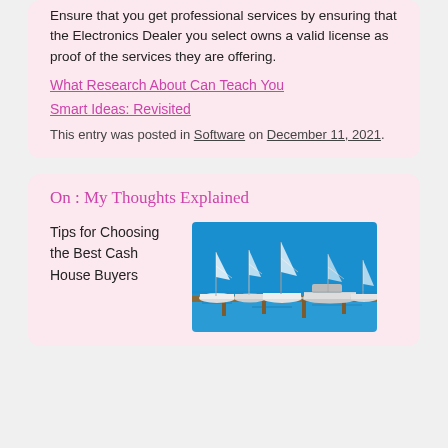Ensure that you get professional services by ensuring that the Electronics Dealer you select owns a valid license as proof of the services they are offering.
What Research About Can Teach You
Smart Ideas: Revisited
This entry was posted in Software on December 11, 2021.
On : My Thoughts Explained
Tips for Choosing the Best Cash House Buyers
[Figure (photo): A marina with sailboats and motorboats docked, reflecting in calm blue water under a clear blue sky.]